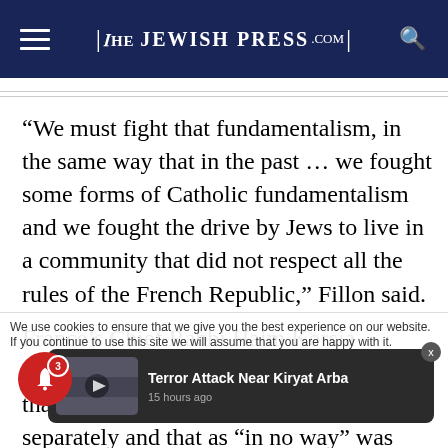The Jewish Press .com
“We must fight that fundamentalism, in the same way that in the past … we fought some forms of Catholic fundamentalism and we fought the drive by Jews to live in a community that did not respect all the rules of the French Republic,” Fillon said.
France’s Chief Rabbi Haim Korsia discussed the comment with Fillon, noting that Jews in the past were forced to [live separately] and that as “in no [way]” was this a consequence of French society not accepting their